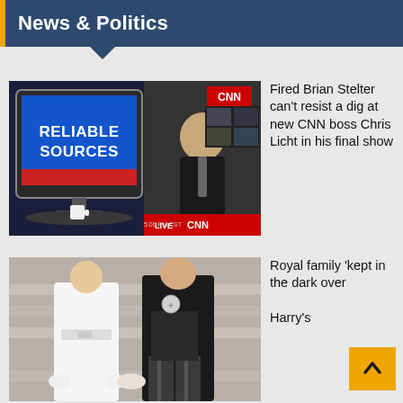News & Politics
[Figure (photo): CNN Reliable Sources TV show screenshot with Brian Stelter at anchor desk, LIVE CNN lower third]
Fired Brian Stelter can’t resist a dig at new CNN boss Chris Licht in his final show
[Figure (photo): Royal couple walking, woman in white outfit, man in formal black suit with medal]
Royal family ‘kept in the dark over Harry’s